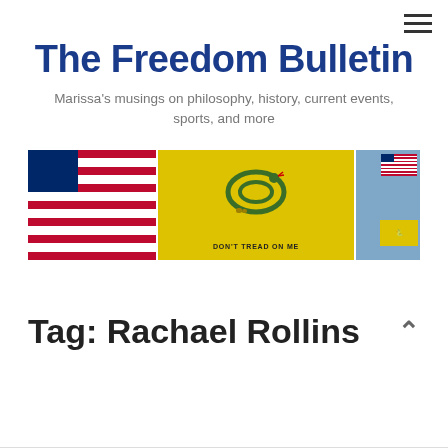The Freedom Bulletin — hamburger menu icon
The Freedom Bulletin
Marissa's musings on philosophy, history, current events, sports, and more
[Figure (photo): Three-panel banner image: left panel shows a waving American flag against blue sky; center panel shows a yellow Gadsden 'Don't Tread on Me' flag prominently; right panel shows a small American flag and a yellow Gadsden flag against blue sky background]
Tag: Rachael Rollins